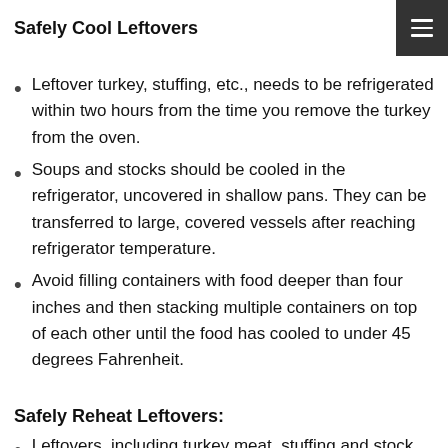Safely Cool Leftovers
Leftover turkey, stuffing, etc., needs to be refrigerated within two hours from the time you remove the turkey from the oven.
Soups and stocks should be cooled in the refrigerator, uncovered in shallow pans. They can be transferred to large, covered vessels after reaching refrigerator temperature.
Avoid filling containers with food deeper than four inches and then stacking multiple containers on top of each other until the food has cooled to under 45 degrees Fahrenheit.
Safely Reheat Leftovers:
Leftovers, including turkey meat, stuffing and stock should